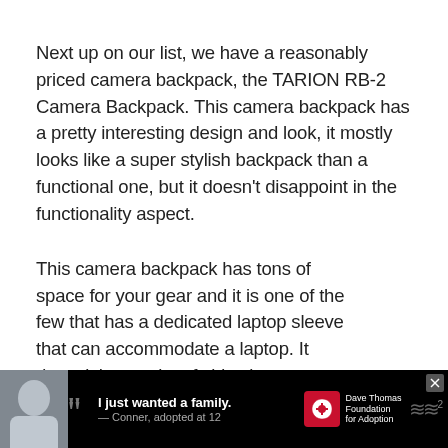Next up on our list, we have a reasonably priced camera backpack, the TARION RB-2 Camera Backpack. This camera backpack has a pretty interesting design and look, it mostly looks like a super stylish backpack than a functional one, but it doesn't disappoint in the functionality aspect.
This camera backpack has tons of space for your gear and it is one of the few that has a dedicated laptop sleeve that can accommodate a laptop. It doesn't have a lot of side zipper or external pockets but overall it gets the job done without any hassle.
(partial) I have to say that this camera... it the best for s... much... ffy...
[Figure (other): Advertisement banner at bottom: Dave Thomas Foundation for Adoption ad with photo of a boy, quote text 'I just wanted a family. — Conner, adopted at 12', logo, and squiggle graphic. Black background.]